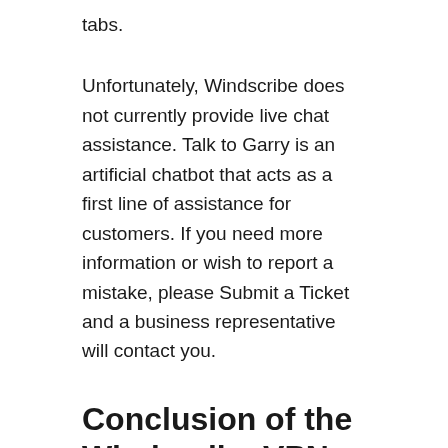tabs.
Unfortunately, Windscribe does not currently provide live chat assistance. Talk to Garry is an artificial chatbot that acts as a first line of assistance for customers. If you need more information or wish to report a mistake, please Submit a Ticket and a business representative will contact you.
Conclusion of the Windscribe VPN Review
In this Windscribe VPN review, I demonstrated how this VPN is capturing hearts with its